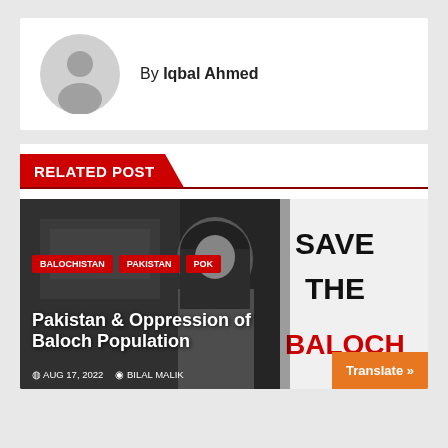By Iqbal Ahmed
RELATED POST
[Figure (photo): Black and white photo of a woman with a headscarf next to a sign reading SAVE THE BALOCH, overlaid with tags BALOCHISTAN, PAKISTAN, POK, headline 'Pakistan & Oppression of Baloch Population', date AUG 17, 2022, author BILAL MALIK]
Pakistan & Oppression of Baloch Population
AUG 17, 2022   BILAL MALIK